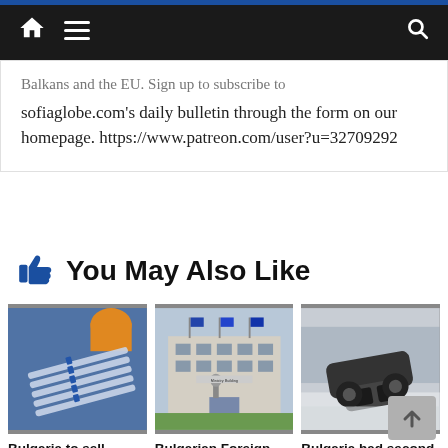Navigation bar with home, menu, and search icons
Balkans and the EU. Sign up to subscribe to sofiaglobe.com's daily bulletin through the form on our homepage. https://www.patreon.com/user?u=32709292
👍 You May Also Like
[Figure (photo): Photo of syringes/vaccines on blue background]
[Figure (photo): Photo of Bulgarian Foreign Ministry building exterior]
[Figure (photo): Photo of overturned car in snow]
Bulgaria to sell Covid-19 vaccines to
Bulgarian Foreign Ministry
Bulgaria had second-highest road